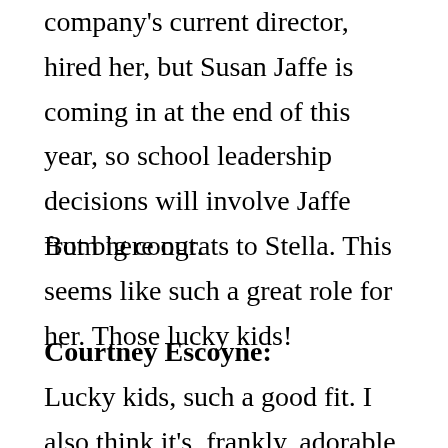company's current director, hired her, but Susan Jaffe is coming in at the end of this year, so school leadership decisions will involve Jaffe from here out.
But big congrats to Stella. This seems like such a great role for her. Those lucky kids!
Courtney Escoyne:
Lucky kids, such a good fit. I also think it's, frankly, adorable that her husband, Sascha Radetsky, is still heading up the Studio